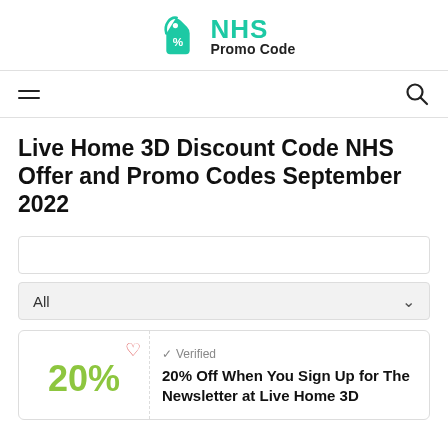[Figure (logo): NHS Promo Code logo with teal price tag icon and text]
Navigation bar with hamburger menu and search icon
Live Home 3D Discount Code NHS Offer and Promo Codes September 2022
All (dropdown filter)
✓ Verified
20% Off When You Sign Up for The Newsletter at Live Home 3D